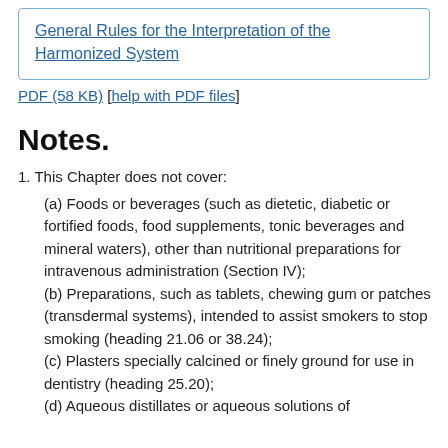General Rules for the Interpretation of the Harmonized System
PDF (58 KB) [help with PDF files]
Notes.
1. This Chapter does not cover:
(a) Foods or beverages (such as dietetic, diabetic or fortified foods, food supplements, tonic beverages and mineral waters), other than nutritional preparations for intravenous administration (Section IV);
(b) Preparations, such as tablets, chewing gum or patches (transdermal systems), intended to assist smokers to stop smoking (heading 21.06 or 38.24);
(c) Plasters specially calcined or finely ground for use in dentistry (heading 25.20);
(d) Aqueous distillates or aqueous solutions of